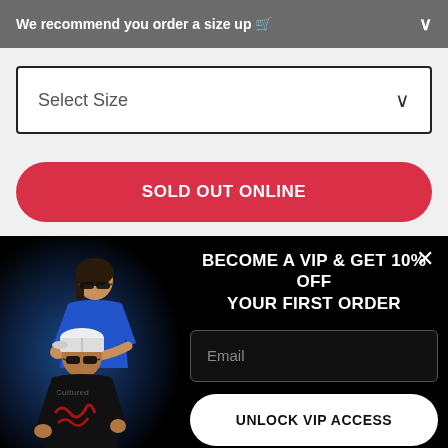We recommend you order a size up 👕
Select Size
SOLD OUT ONLINE
ADD TO WISHLIST
BECOME A VIP & GET 10% OFF YOUR FIRST ORDER
Email
UNLOCK VIP ACCESS
[Figure (photo): Two young people wearing streetwear clothing posing together, one in a blue graphic hoodie and sunglasses, another in a black hoodie, against a dark background]